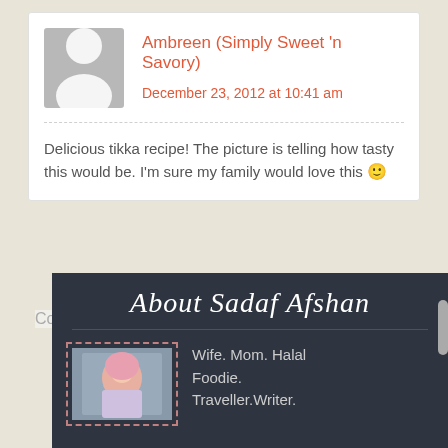Ambreen (Simply Sweet 'n Savory)
December 23, 2012 at 10:41 am
Delicious tikka recipe! The picture is telling how tasty this would be. I'm sure my family would love this 🙂
Comments are closed.
About Sadaf Afshan
Wife. Mom. Halal Foodie. Traveller.Writer.